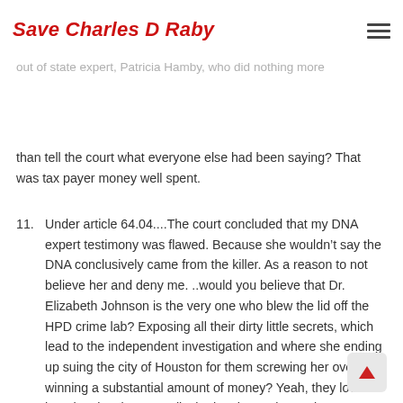Save Charles D Raby
original close typing, who had from alias to close; that, so why explain himself to the court? Why did they have to spend who knows how much money on an out of state expert, Patricia Hamby, who did nothing more than tell the court what everyone else had been saying? That was tax payer money well spent.
11. Under article 64.04....The court concluded that my DNA expert testimony was flawed. Because she wouldn't say the DNA conclusively came from the killer. As a reason to not believe her and deny me. ..would you believe that Dr. Elizabeth Johnson is the very one who blew the lid off the HPD crime lab? Exposing all their dirty little secrets, which lead to the independent investigation and where she ending up suing the city of Houston for them screwing her over and winning a substantial amount of money? Yeah, they love her, they just love Dr. Elizabeth Johnson in Harris county Houston TX. I wish my attorneys would have called none other than Michael Bromwich as our expert if they were to call anyone. But Johnson told it like it is, the truth and that